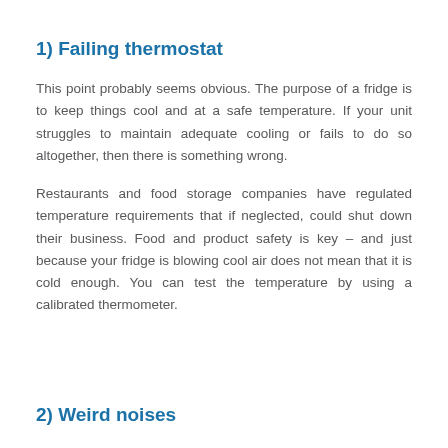1) Failing thermostat
This point probably seems obvious. The purpose of a fridge is to keep things cool and at a safe temperature. If your unit struggles to maintain adequate cooling or fails to do so altogether, then there is something wrong.
Restaurants and food storage companies have regulated temperature requirements that if neglected, could shut down their business. Food and product safety is key – and just because your fridge is blowing cool air does not mean that it is cold enough. You can test the temperature by using a calibrated thermometer.
2) Weird noises